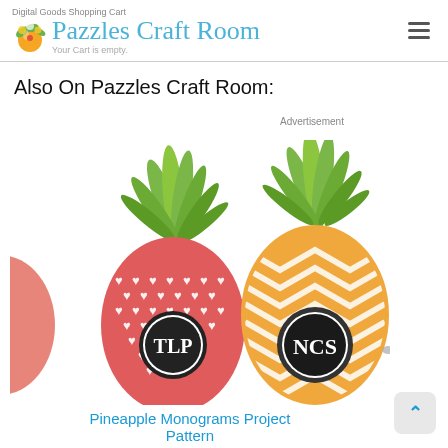Digital Goods Shopping Cart · Pazzles Craft Room · Your Cart is empty.
Also On Pazzles Craft Room:
Advertisement
[Figure (illustration): Two pineapple monogram designs: left is a pink/red pineapple with white hearts pattern and a circular monogram badge showing 'TLP', right is an orange chevron pineapple with a circular monogram badge showing 'NCS'. Both have green leafy tops. A partial third pineapple is visible on the left edge.]
Pineapple Monograms Project Pattern